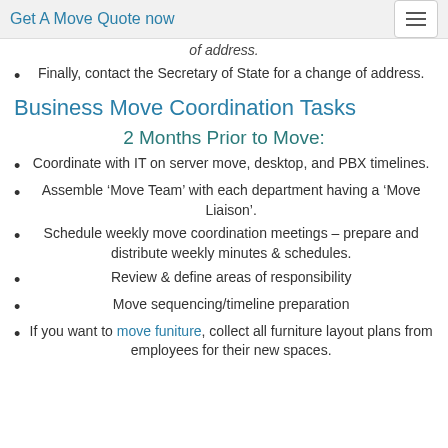Get A Move Quote now
Finally, contact the Secretary of State for a change of address.
Business Move Coordination Tasks
2 Months Prior to Move:
Coordinate with IT on server move, desktop, and PBX timelines.
Assemble ‘Move Team’ with each department having a ‘Move Liaison’.
Schedule weekly move coordination meetings – prepare and distribute weekly minutes & schedules.
Review & define areas of responsibility
Move sequencing/timeline preparation
If you want to move funiture, collect all furniture layout plans from employees for their new spaces.